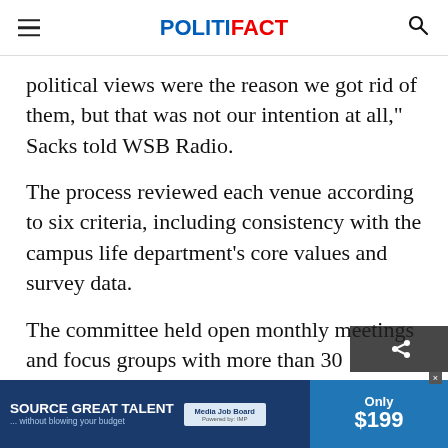POLITIFACT
political views were the reason we got rid of them, but that was not our intention at all," Sacks told WSB Radio.
The process reviewed each venue according to six criteria, including consistency with the campus life department's core values and survey data.
The committee held open monthly meetings and focus groups with more than 30 volunte... atten... all th... ts on
[Figure (screenshot): Advertisement banner at the bottom: SOURCE GREAT TALENT ... without blowing your budget, Media Job Board, Only $199]